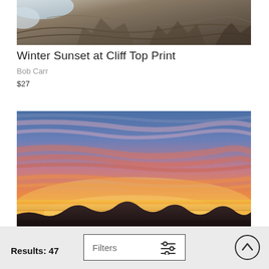[Figure (photo): Cropped bottom portion of a cliff top rock face with snow and layered rock texture in brown and grey tones]
Winter Sunset at Cliff Top Print
Bob Carr
$27
[Figure (photo): Dramatic sunset landscape with vivid orange, red, pink and purple sky with streaking clouds and silhouetted mountain range at the horizon]
Results: 47
Filters